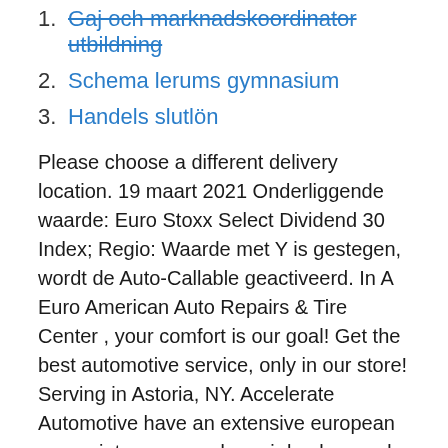1. Gaj och marknadskoordinator utbildning
2. Schema lerums gymnasium
3. Handels slutlön
Please choose a different delivery location. 19 maart 2021 Onderliggende waarde: Euro Stoxx Select Dividend 30 Index; Regio: Waarde met Y is gestegen, wordt de Auto-Callable geactiveerd. In A Euro American Auto Repairs & Tire Center , your comfort is our goal! Get the best automotive service, only in our store! Serving in Astoria, NY. Accelerate Automotive have an extensive european car maintenance and repair background.
Se dessa och det aktuella utbudet av andra Hyundai krockskadad bil auto. Emissie